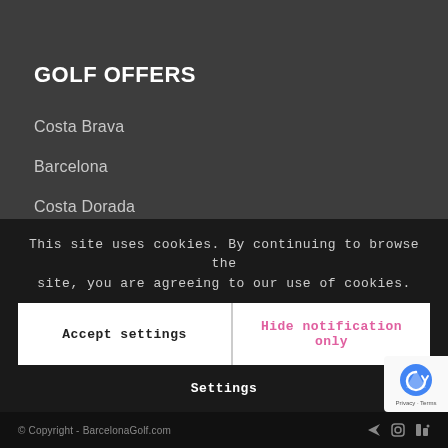GOLF OFFERS
Costa Brava
Barcelona
Costa Dorada
Alternative Packs
Corporate Venues
Current Events
Global Deals
This site uses cookies. By continuing to browse the site, you are agreeing to our use of cookies.
Accept settings
Hide notification only
Settings
© Copyright - BarcelonaGolf.com